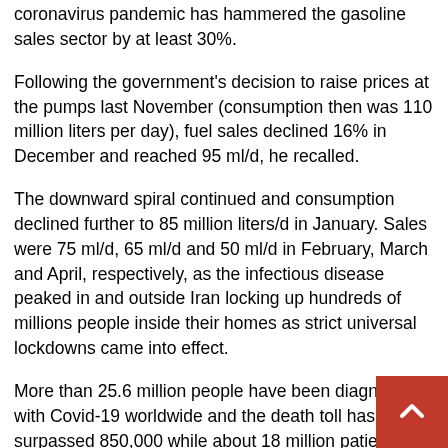coronavirus pandemic has hammered the gasoline sales sector by at least 30%.
Following the government's decision to raise prices at the pumps last November (consumption then was 110 million liters per day), fuel sales declined 16% in December and reached 95 ml/d, he recalled.
The downward spiral continued and consumption declined further to 85 million liters/d in January. Sales were 75 ml/d, 65 ml/d and 50 ml/d in February, March and April, respectively, as the infectious disease peaked in and outside Iran locking up hundreds of millions people inside their homes as strict universal lockdowns came into effect.
More than 25.6 million people have been diagnosed with Covid-19 worldwide and the death toll has surpassed 850,000 while about 18 million patients recovered